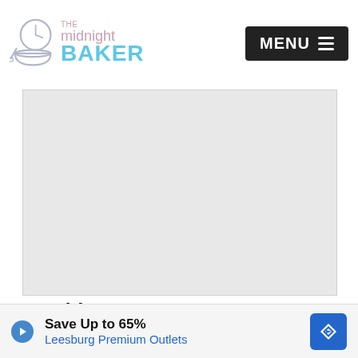The Midnight Baker — MENU
[Figure (photo): Large image placeholder area (gray rectangle), likely a food photo from The Midnight Baker recipe site]
Nutrition
Serving: 1g | Calories: 664kcal | Carbohydrates: 53g | Protein: 22g | Fat: 42g | Saturated Fat: 19g | Ch...
[Figure (other): Advertisement banner: Save Up to 65% — Leesburg Premium Outlets, with play button icon and navigation/map icon]